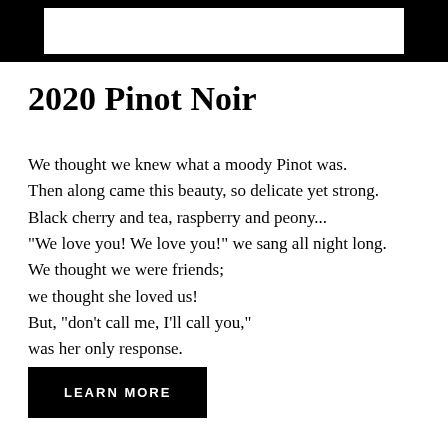[Figure (other): Top banner image showing a wine bottle label on black background]
2020 Pinot Noir
We thought we knew what a moody Pinot was.
Then along came this beauty, so delicate yet strong.
Black cherry and tea, raspberry and peony...
"We love you! We love you!" we sang all night long.
We thought we were friends;
we thought she loved us!
But, "don't call me, I'll call you,"
was her only response.
LEARN MORE